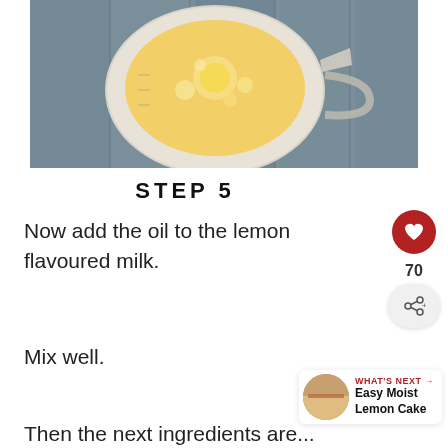[Figure (photo): Overhead view of a glass measuring jug with yellow liquid (egg and oil mixture) on a grey-blue wooden surface]
STEP 5
Now add the oil to the lemon flavoured milk.
Mix well.
Then the next ingredients are...